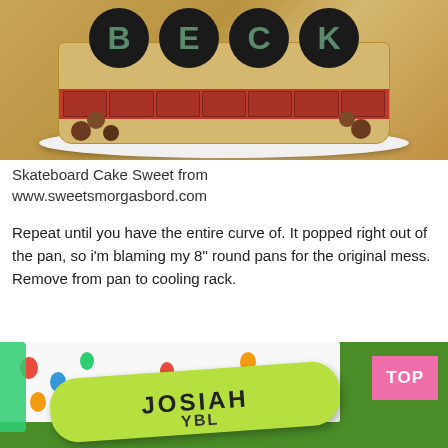[Figure (photo): A decorated birthday cake with black fondant circles showing letters B, E, C, K in green on top. The cake has a red band with brick-like tiles around the sides and brown chocolate balls. Displayed on a white plate on a wooden surface.]
Skateboard Cake Sweet from www.sweetsmorgasbord.com
Repeat until you have the entire curve of. It popped right out of the pan, so i'm blaming my 8" round pans for the original mess. Remove from pan to cooling rack.
[Figure (photo): A neon yellow-green skateboard shaped cake with dark fondant letters spelling JOSIAH on top, placed on a table with a colorful balloon-print tablecloth over green grass background. A pink TOP badge is visible in the upper right corner.]